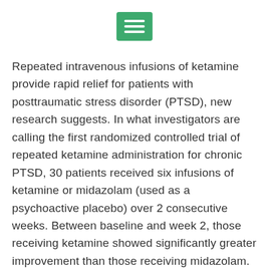[Figure (other): Green hamburger menu icon button with three white horizontal bars]
Repeated intravenous infusions of ketamine provide rapid relief for patients with posttraumatic stress disorder (PTSD), new research suggests. In what investigators are calling the first randomized controlled trial of repeated ketamine administration for chronic PTSD, 30 patients received six infusions of ketamine or midazolam (used as a psychoactive placebo) over 2 consecutive weeks. Between baseline and week 2, those receiving ketamine showed significantly greater improvement than those receiving midazolam. Total scores on the Clinician-Administered PTSD Scale for DSM-5 (CAPS-5) for the first group were almost 12 points [...]